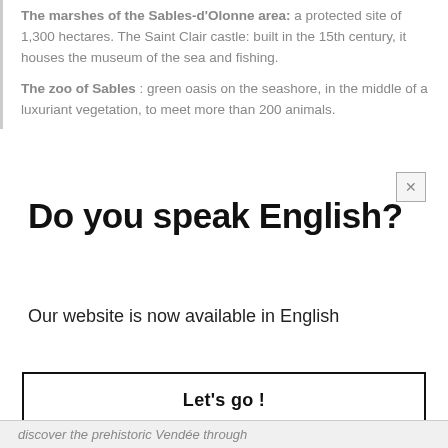The marshes of the Sables-d'Olonne area: a protected site of 1,300 hectares. The Saint Clair castle: built in the 15th century, it houses the museum of the sea and fishing.
The zoo of Sables : green oasis on the seashore, in the middle of a luxuriant vegetation, to meet more than 200 animals.
Do you speak English?
Our website is now available in English
Let's go !
discover the prehistoric Vendée through